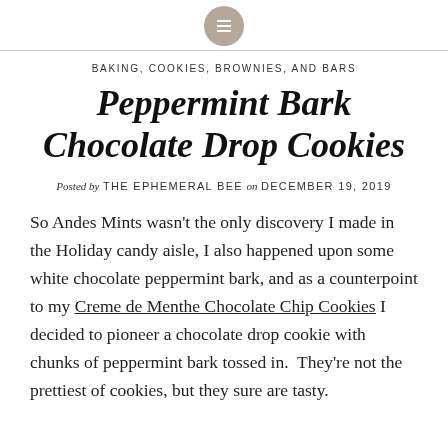BAKING, COOKIES, BROWNIES, AND BARS
Peppermint Bark Chocolate Drop Cookies
Posted by THE EPHEMERAL BEE on DECEMBER 19, 2019
So Andes Mints wasn't the only discovery I made in the Holiday candy aisle, I also happened upon some white chocolate peppermint bark, and as a counterpoint to my Creme de Menthe Chocolate Chip Cookies I decided to pioneer a chocolate drop cookie with chunks of peppermint bark tossed in. They're not the prettiest of cookies, but they sure are tasty.